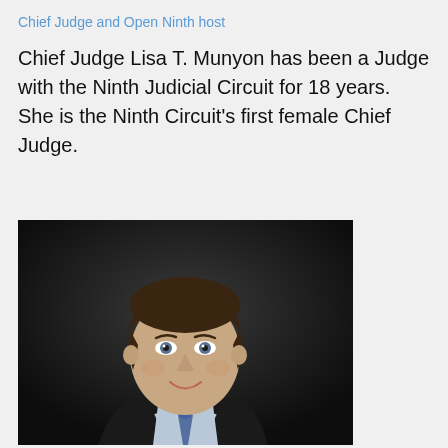Chief Judge and Open Ninth host
Chief Judge Lisa T. Munyon has been a Judge with the Ninth Judicial Circuit for 18 years. She is the Ninth Circuit's first female Chief Judge.
[Figure (photo): Professional portrait of a smiling man in judicial robes with a light blue shirt and blue tie, photographed against a dark background.]